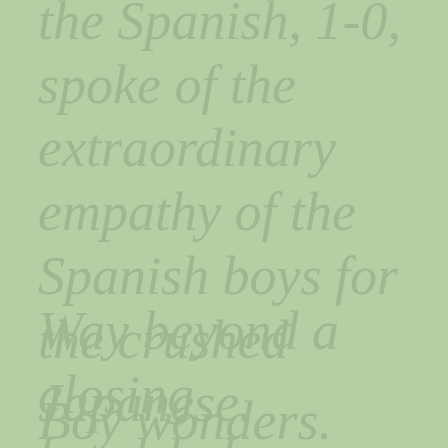the Spanish, 1-0, spoke of the extraordinary empathy of the Spanish boys for the crushed Japanese.
Way beyond a closing handshake.
Boy wonders.